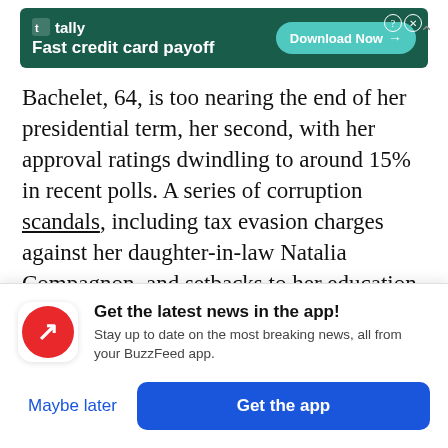[Figure (screenshot): Green advertisement banner for Tally app: 'Fast credit card payoff' with a teal 'Download Now →' button and close/help icons in top right.]
Bachelet, 64, is too nearing the end of her presidential term, her second, with her approval ratings dwindling to around 15% in recent polls. A series of corruption scandals, including tax evasion charges against her daughter-in-law Natalia Compagnon, and setbacks to her education and pension reforms, have dogged her administration.
That has made it difficult to push forward her goals
[Figure (screenshot): BuzzFeed app notification overlay card with red BuzzFeed logo icon. Title: 'Get the latest news in the app!' Subtitle: 'Stay up to date on the most breaking news, all from your BuzzFeed app.' Two buttons: 'Maybe later' (blue text) and 'Get the app' (blue filled button).]